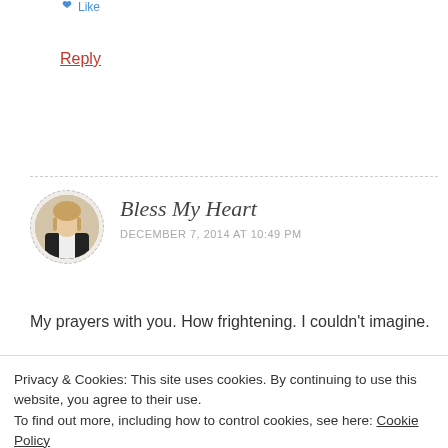Like
Reply
Bless My Heart
DECEMBER 7, 2014 AT 10:49 PM
[Figure (photo): Avatar photo of a woman in a black jacket]
My prayers with you. How frightening. I couldn't imagine.
Privacy & Cookies: This site uses cookies. By continuing to use this website, you agree to their use.
To find out more, including how to control cookies, see here: Cookie Policy
Close and accept